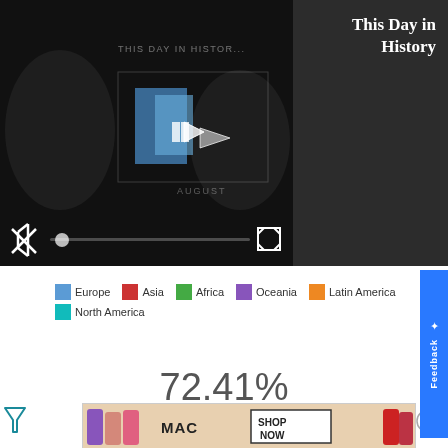[Figure (screenshot): Video player showing 'This Day in History' with play button, progress bar, mute icon and fullscreen controls on dark background]
This Day in History
[Figure (other): Legend showing color-coded regions: Europe (blue), Asia (red), Africa (green), Oceania (purple), Latin America (orange), North America (teal)]
72.41%
Born in Brooten
[Figure (photo): MAC cosmetics advertisement showing lipsticks with SHOP NOW button]